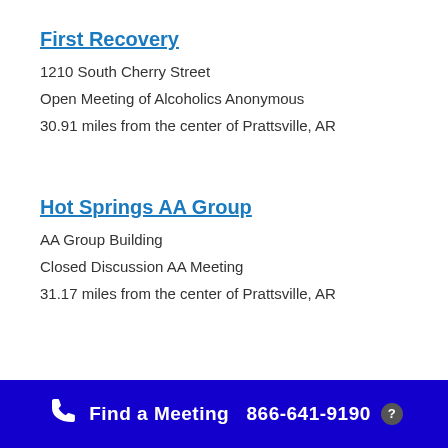First Recovery
1210 South Cherry Street
Open Meeting of Alcoholics Anonymous
30.91 miles from the center of Prattsville, AR
Hot Springs AA Group
AA Group Building
Closed Discussion AA Meeting
31.17 miles from the center of Prattsville, AR
Find a Meeting  866-641-9190